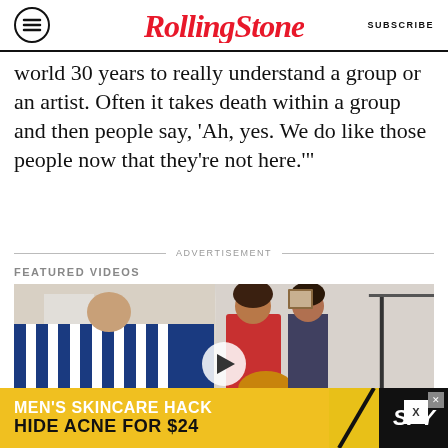RollingStone — SUBSCRIBE
world 30 years to really understand a group or an artist. Often it takes death within a group and then people say, 'Ah, yes. We do like those people now that they're not here.'"
ADVERTISEMENT
FEATURED VIDEOS
[Figure (photo): Video thumbnail showing three people in an indoor setting — a man in blue striped shirt on left, a man in red outfit bending over in center, and another person on right holding a dog. A play button is overlaid in the center.]
[Figure (photo): Advertisement banner: MEN'S SKINCARE HACK — HIDE ACNE FOR $24 — SPY brand logo on yellow/black background]